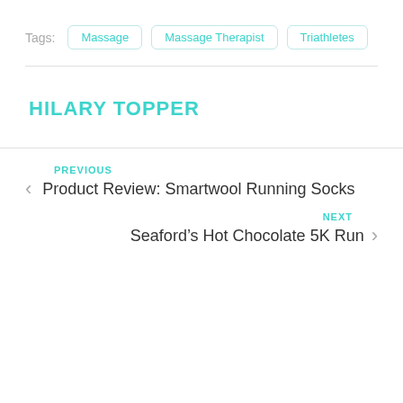Tags: Massage | Massage Therapist | Triathletes
HILARY TOPPER
PREVIOUS
< Product Review: Smartwool Running Socks
NEXT
Seaford's Hot Chocolate 5K Run >